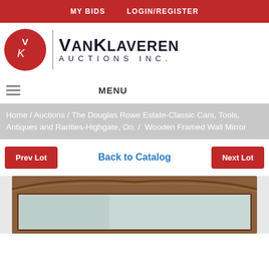MY BIDS   LOGIN/REGISTER
[Figure (logo): VanKlaveren Auctions Inc. logo — red circle with VK initials, vertical divider, and company name text]
MENU
Home / Auctions / The Douglas Rowe Estate-Classic Cars, Tools, Antiques and Rarities-Highgate, On. /  Wooden Framed Wall Mirror
Prev Lot    Back to Catalog    Next Lot
[Figure (photo): Wooden framed wall mirror — ornate dark wood frame with decorative carved top edge, partial view of mirror reflection]